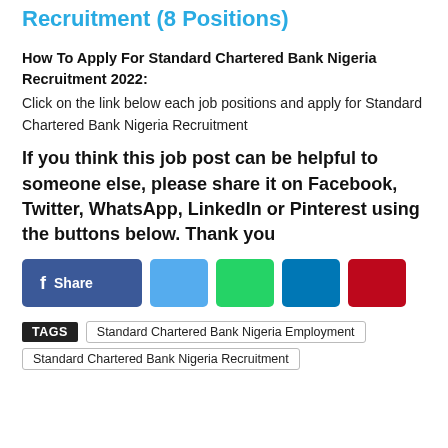Recruitment (8 Positions)
How To Apply For Standard Chartered Bank Nigeria Recruitment 2022:
Click on the link below each job positions and apply for Standard Chartered Bank Nigeria Recruitment
If you think this job post can be helpful to someone else, please share it on Facebook, Twitter, WhatsApp, LinkedIn or Pinterest using the buttons below. Thank you
[Figure (other): Social share buttons: Facebook Share (dark blue), Twitter (light blue), WhatsApp (green), LinkedIn (dark blue), Pinterest (red)]
TAGS   Standard Chartered Bank Nigeria Employment   Standard Chartered Bank Nigeria Recruitment